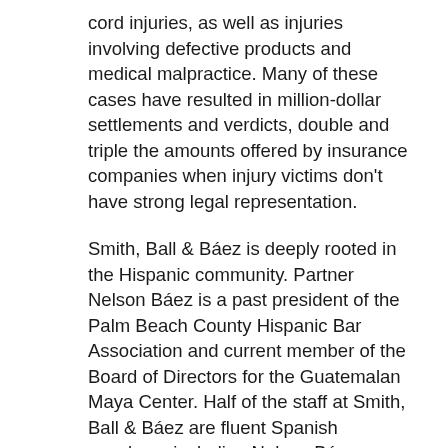cord injuries, as well as injuries involving defective products and medical malpractice. Many of these cases have resulted in million-dollar settlements and verdicts, double and triple the amounts offered by insurance companies when injury victims don't have strong legal representation.
Smith, Ball & Báez is deeply rooted in the Hispanic community. Partner Nelson Báez is a past president of the Palm Beach County Hispanic Bar Association and current member of the Board of Directors for the Guatemalan Maya Center. Half of the staff at Smith, Ball & Báez are fluent Spanish speakers, including Nelson Báez, paralegals Kimberly Simpson and Amarys Reyes and support staff Yaiselin Gomez, Isabel Quinde and Isabella LeFort. Because of our language skills and legal experience, we have helped hundreds of Spanish speaking families throughout Florida and Latin America (including Puerto Rico, Mexico, Guatemala, and Colombia) receive